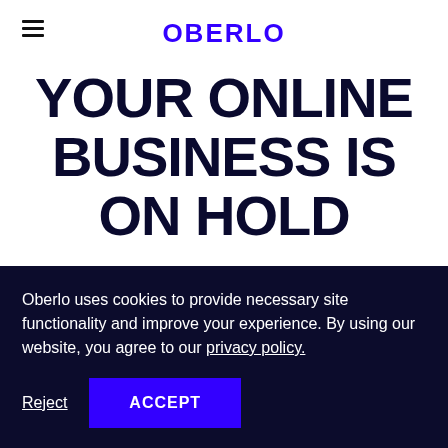OBERLO
YOUR ONLINE BUSINESS IS ON HOLD
1 Apr, 2020
Things aren't normal anywhere right now.
Oberlo uses cookies to provide necessary site functionality and improve your experience. By using our website, you agree to our privacy policy.
Reject
ACCEPT